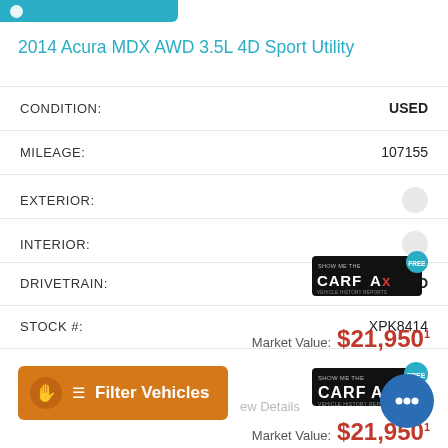2014 Acura MDX AWD 3.5L 4D Sport Utility
| Field | Value |
| --- | --- |
| CONDITION: | USED |
| MILEAGE: | 107155 |
| EXTERIOR: |  |
| INTERIOR: |  |
| DRIVETRAIN: | AWD |
| STOCK #: | XPK8414 |
[Figure (logo): CARFAX vehicle history report badge — black box with CARFAX logo and 'SHOW ME THE FREE' text, blue 'FREE' bubble top right]
Market Value: $21,950¹
[Figure (other): Orange 'Filter Vehicles' button with hamburger menu icon and hand pointer icon]
View Details